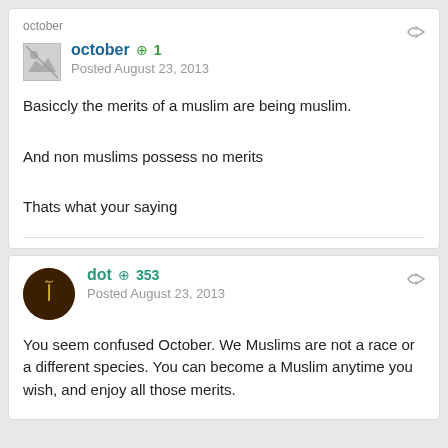october (small label above avatar)
october  +1
Posted August 23, 2013
Basiccly the merits of a muslim are being muslim.
And non muslims possess no merits
Thats what your saying
dot  +353
Posted August 23, 2013
You seem confused October. We Muslims are not a race or a different species. You can become a Muslim anytime you wish, and enjoy all those merits.